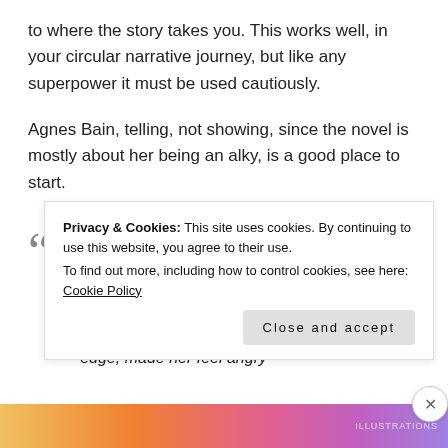to where the story takes you. This works well, in your circular narrative journey, but like any superpower it must be used cautiously.
Agnes Bain, telling, not showing, since the novel is mostly about her being an alky, is a good place to start.
‘To be thirty-nine and have her husband and her three children, two of them nearly grown, all crammed together in her mammy’s flat, gave her a feeling of failure. Her man, who when he shared her bed, now seemed to lie on the very edge, made her feel angry
Privacy & Cookies: This site uses cookies. By continuing to use this website, you agree to their use. To find out more, including how to control cookies, see here: Cookie Policy
Close and accept